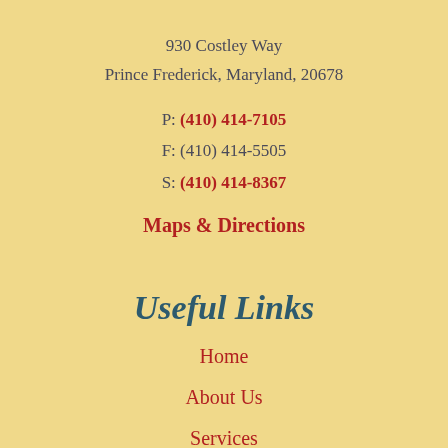930 Costley Way
Prince Frederick, Maryland, 20678
P: (410) 414-7105
F: (410) 414-5505
S: (410) 414-8367
Maps & Directions
Useful Links
Home
About Us
Services